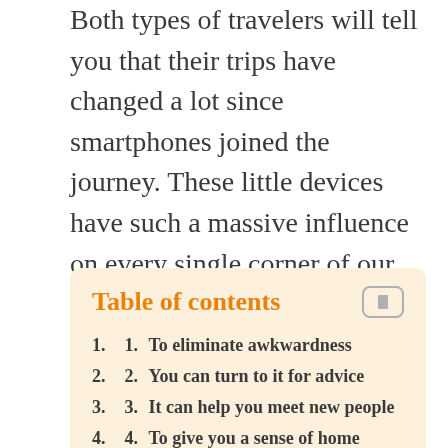Both types of travelers will tell you that their trips have changed a lot since smartphones joined the journey. These little devices have such a massive influence on every single corner of our world, it comes as no surprise to learn that solo traveling is one of them. Here are five brilliant ways to turn your mobile into the best travel buddy you could hope for.
Table of contents
1.  1.  To eliminate awkwardness
2.  2.  You can turn to it for advice
3.  3.  It can help you meet new people
4.  4.  To give you a sense of home
5.  5.  Sharing is caring